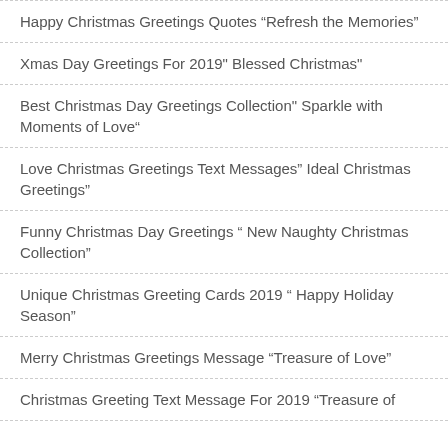Happy Christmas Greetings Quotes “Refresh the Memories”
Xmas Day Greetings For 2019" Blessed Christmas"
Best Christmas Day Greetings Collection" Sparkle with Moments of Love"
Love Christmas Greetings Text Messages” Ideal Christmas Greetings”
Funny Christmas Day Greetings “ New Naughty Christmas Collection”
Unique Christmas Greeting Cards 2019 “ Happy Holiday Season”
Merry Christmas Greetings Message “Treasure of Love”
Christmas Greeting Text Message For 2019 “Treasure of...